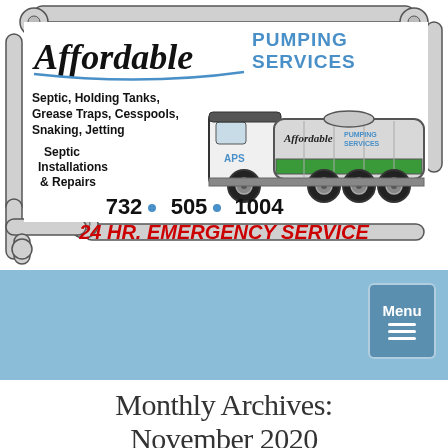[Figure (illustration): Affordable Pumping Services advertisement with pipe border, septic truck graphic, services listed (Septic, Holding Tanks, Grease Traps, Cesspools, Snaking, Jetting, Septic Installations & Repairs), phone number 732-505-1004, and 24 HR. EMERGENCY SERVICE text in red italic.]
[Figure (other): Blue navigation bar with a Menu button (white text, hamburger icon) in the top-right corner.]
Monthly Archives:
November 2020